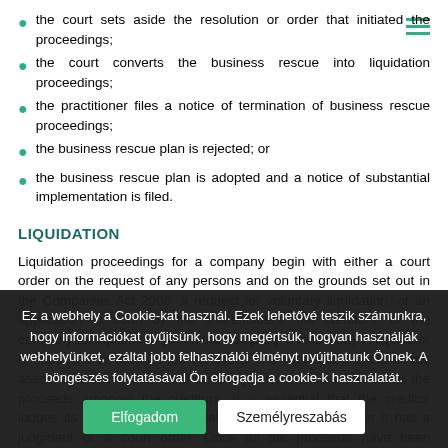the court sets aside the resolution or order that initiated the proceedings;
the court converts the business rescue into liquidation proceedings;
the practitioner files a notice of termination of business rescue proceedings;
the business rescue plan is rejected; or
the business rescue plan is adopted and a notice of substantial implementation is filed.
LIQUIDATION
Liquidation proceedings for a company begin with either a court order on the request of any persons and on the grounds set out in the Companies Act 2008, a request for voluntary liquidation, or an application to court by the shareholders, the creditors, or the company for liquidation (when the company is insolvent). A liquidator is appointed to wind up the company. The liquidator collects all the assets and claims due to the company, sells them and distributes the proceeds amongst the creditors. It is essential that the creditor lodges its claim with the liquidator, regardless of whether it has a judgment or a court order. Once all the proceeds have been distributed, the liquidator files its final
Ez a webhely a Cookie-kat használ. Ezek lehetővé teszik számunkra, hogy információkat gyűjtsünk, hogy megértsük, hogyan használják webhelyünket, ezáltal jobb felhasználói élményt nyújthatunk Önnek. A böngészés folytatásával Ön elfogadja a cookie-k használatát.